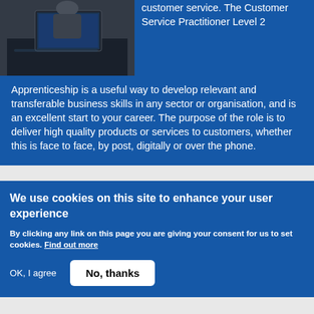[Figure (photo): A person working at a desk with a laptop, photographed from above at an angle, in a dimly lit office setting.]
customer service. The Customer Service Practitioner Level 2 Apprenticeship is a useful way to develop relevant and transferable business skills in any sector or organisation, and is an excellent start to your career. The purpose of the role is to deliver high quality products or services to customers, whether this is face to face, by post, digitally or over the phone.
We use cookies on this site to enhance your user experience
By clicking any link on this page you are giving your consent for us to set cookies. Find out more
OK, I agree
No, thanks